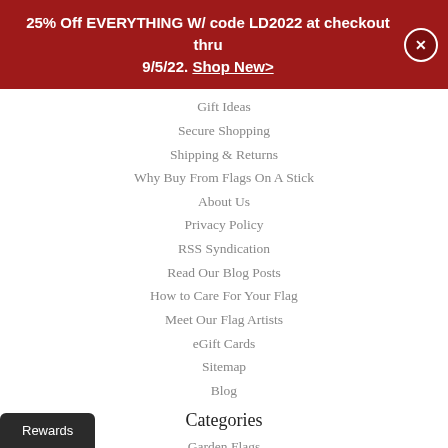25% Off EVERYTHING W/ code LD2022 at checkout thru 9/5/22. Shop New>
Gift Ideas
Secure Shopping
Shipping & Returns
Why Buy From Flags On A Stick
About Us
Privacy Policy
RSS Syndication
Read Our Blog Posts
How to Care For Your Flag
Meet Our Flag Artists
eGift Cards
Sitemap
Blog
Categories
Garden Flags